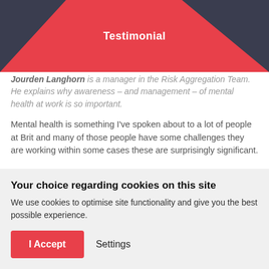[Figure (illustration): Red banner with dark navy/charcoal triangular shapes on left and right forming a V-shape at center bottom, with the word 'Testimonial' in white bold text centered]
Jourden Langhorn is a manager in the Risk Aggregation Team. He explains why awareness – and management – of mental health at work is so important.
Mental health is something I've spoken about to a lot of people at Brit and many of those people have some challenges they are working within some cases these are surprisingly significant.
Your choice regarding cookies on this site
We use cookies to optimise site functionality and give you the best possible experience.
I Accept   Settings